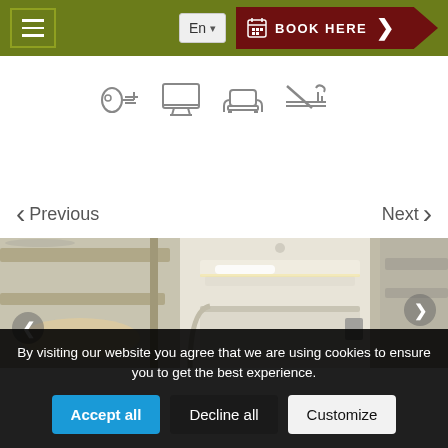Navigation bar with hamburger menu, language selector (En), and BOOK HERE button
[Figure (illustration): Amenity icons: hair dryer, monitor/TV, armchair, no-smoking sign]
< Previous    Next >
[Figure (photo): Interior photo of bunk bed sleeping pods in what appears to be a capsule hotel or hostel, showing compact white bunk beds with lighting]
By visiting our website you agree that we are using cookies to ensure you to get the best experience.
Accept all   Decline all   Customize